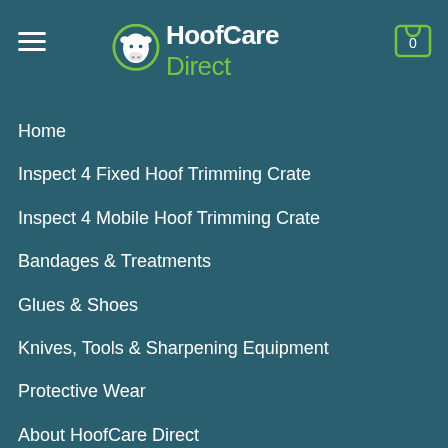HoofCare Direct — navigation menu header with hamburger icon and cart
Home
Inspect 4 Fixed Hoof Trimming Crate
Inspect 4 Mobile Hoof Trimming Crate
Bandages & Treatments
Glues & Shoes
Knives, Tools & Sharpening Equipment
Protective Wear
About HoofCare Direct
Contact HoofCare Direct
INFORMATION
My Account
Cart
Checkout
Returns Policy